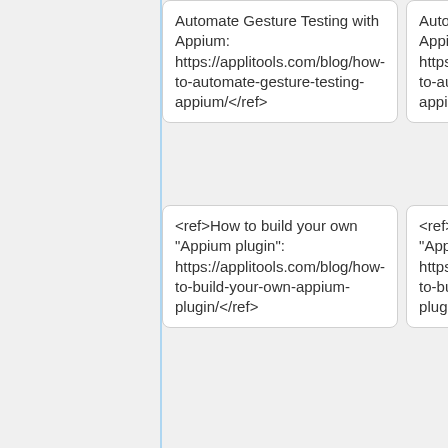Automate Gesture Testing with Appium: https://applitools.com/blog/how-to-automate-gesture-testing-appium/</ref>
Automate Gesture Testing with Appium: https://applitools.com/blog/how-to-automate-gesture-testing-appium/</ref>
<ref>How to build your own "Appium plugin": https://applitools.com/blog/how-to-build-your-own-appium-plugin/</ref>
<ref>How to build your own "Appium plugin": https://applitools.com/blog/how-to-build-your-own-appium-plugin/</ref>
<ref>Hello Appium! Part 3 - Writing Your First iOS Test: https://applitools.com/blog/how-